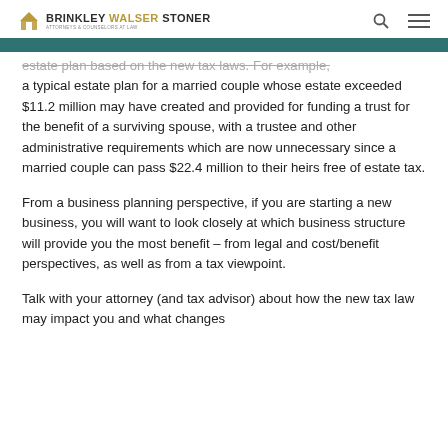BRINKLEY WALSER STONER — Attorneys & Counselors at Law
estate plan based on the new tax laws. For example, a typical estate plan for a married couple whose estate exceeded $11.2 million may have created and provided for funding a trust for the benefit of a surviving spouse, with a trustee and other administrative requirements which are now unnecessary since a married couple can pass $22.4 million to their heirs free of estate tax.
From a business planning perspective, if you are starting a new business, you will want to look closely at which business structure will provide you the most benefit – from legal and cost/benefit perspectives, as well as from a tax viewpoint.
Talk with your attorney (and tax advisor) about how the new tax law may impact you and what changes